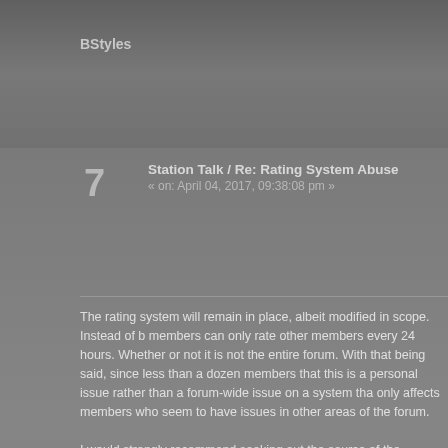BStyles
7  Station Talk / Re: Rating System Abuse
« on: April 04, 2017, 09:38:08 pm »
The rating system will remain in place, albeit modified in scope. Instead of b members can only rate other members every 24 hours. Whether or not it is not the entire forum. With that being said, since less than a dozen members that this is a personal issue rather than a forum-wide issue on a system tha only affects members who seem to have issues in other areas of the forum.

I would strongly recommend seeking out the source of the negative ratings said before, think about what you post before you post, because that to car
BStyles
8  Station Talk / Re: My Concern About Forum Fighting/Irelevant Advert
« on: April 04, 2017, 09:24:46 pm »
I am currently in the process of scrubbing the forum of the spam. Spam, by nature or the title of the topic, whether it be personal arguments against the refrain from derailing topics, or posting irrelevant information, such as s